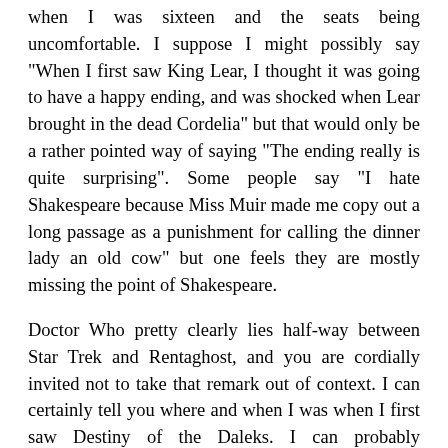when I was sixteen and the seats being uncomfortable. I suppose I might possibly say "When I first saw King Lear, I thought it was going to have a happy ending, and was shocked when Lear brought in the dead Cordelia" but that would only be a rather pointed way of saying "The ending really is quite surprising". Some people say "I hate Shakespeare because Miss Muir made me copy out a long passage as a punishment for calling the dinner lady an old cow" but one feels they are mostly missing the point of Shakespeare.
Doctor Who pretty clearly lies half-way between Star Trek and Rentaghost, and you are cordially invited not to take that remark out of context. I can certainly tell you where and when I was when I first saw Destiny of the Daleks. I can probably reconstruct my original reaction to the Romana Regeneration pretty well. My overwhelming feelings were personal betrayal. It was well known at school that I was a Doctor Who fan, and I knew from the